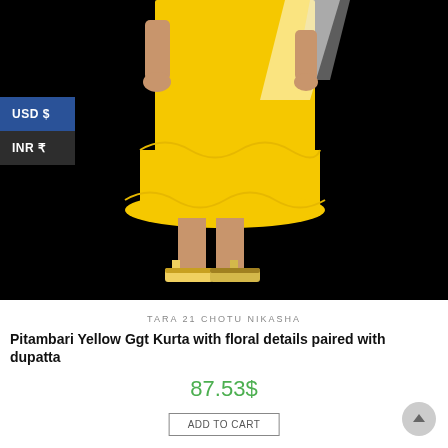[Figure (photo): A child model wearing a bright yellow tiered kurta (Pitambari Yellow Ggt Kurta) with floral dupatta, standing against a black background, wearing yellow sandals.]
USD $
INR ₹
TARA 21 CHOTU NIKASHA
Pitambari Yellow Ggt Kurta with floral details paired with dupatta
87.53$